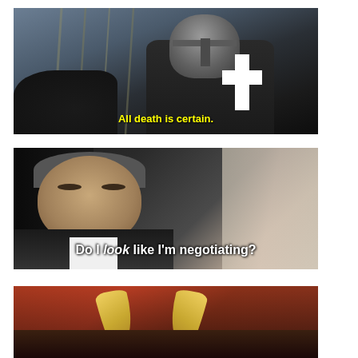[Figure (photo): Movie still of a medieval knight in black surcoat with white cross, wearing a metal helmet, with spears/poles in background. Yellow subtitle text reads: All death is certain.]
[Figure (photo): Movie still of a middle-aged man in a dark suit with white shirt, looking seriously at someone off-screen. Curtains visible in background. White subtitle text reads: Do I look like I'm negotiating?]
[Figure (photo): Partial movie still showing what appears to be two curved horns (possibly a Viking helmet) against a reddish background, cropped at bottom of page.]